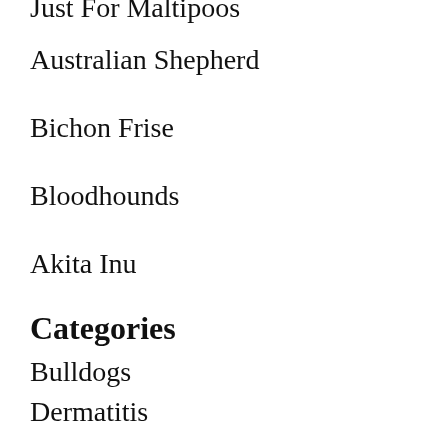Just For Maltipoos
Australian Shepherd
Bichon Frise
Bloodhounds
Akita Inu
Categories
Bulldogs
Dermatitis
Dog and Medicine
Dog breeds
Dog Food Advice